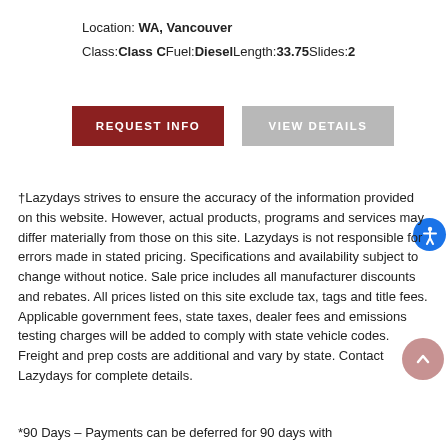Location: WA, Vancouver
Class:Class CFuel:DieselLength:33.75Slides:2
[Figure (other): Two buttons: REQUEST INFO (dark red) and VIEW DETAILS (gray)]
†Lazydays strives to ensure the accuracy of the information provided on this website. However, actual products, programs and services may differ materially from those on this site. Lazydays is not responsible for errors made in stated pricing. Specifications and availability subject to change without notice. Sale price includes all manufacturer discounts and rebates. All prices listed on this site exclude tax, tags and title fees. Applicable government fees, state taxes, dealer fees and emissions testing charges will be added to comply with state vehicle codes. Freight and prep costs are additional and vary by state. Contact Lazydays for complete details.
*90 Days – Payments can be deferred for 90 days with